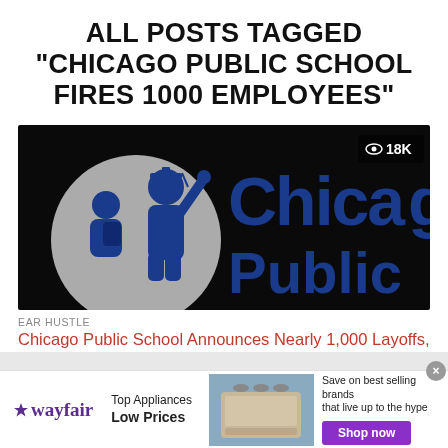ALL POSTS TAGGED "CHICAGO PUBLIC SCHOOL FIRES 1000 EMPLOYEES"
[Figure (photo): Chicago Public Schools banner image on black background showing silhouettes of students/graduates in blue and the text 'Chica Public' (Chicago Public) in large blue letters. A view count badge shows an eye icon and '18K' in the upper right corner.]
EAR HUSTLE
Chicago Public School Announces Nearly 1,000 Layoffs, 500 Are Teachers
According to WGN 9, Chicago Public Schools are laying off abou
[Figure (photo): Wayfair advertisement banner. Left side: Wayfair logo with star icon, text 'Top Appliances Low Prices'. Middle: photo of a stove/range appliance. Right side: text 'Save on best selling brands that live up to the hype' with a purple 'Shop now' button.]